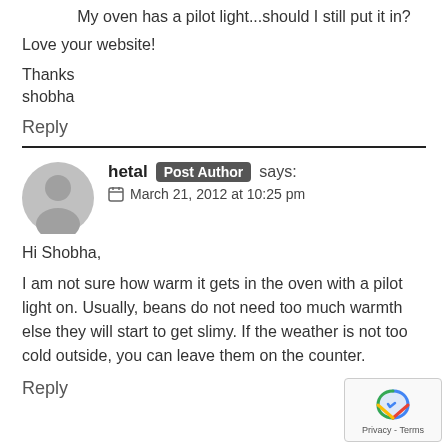My oven has a pilot light...should I still put it in?
Love your website!
Thanks
shobha
Reply
hetal Post Author says:
March 21, 2012 at 10:25 pm
Hi Shobha,
I am not sure how warm it gets in the oven with a pilot light on. Usually, beans do not need too much warmth else they will start to get slimy. If the weather is not too cold outside, you can leave them on the counter.
Reply